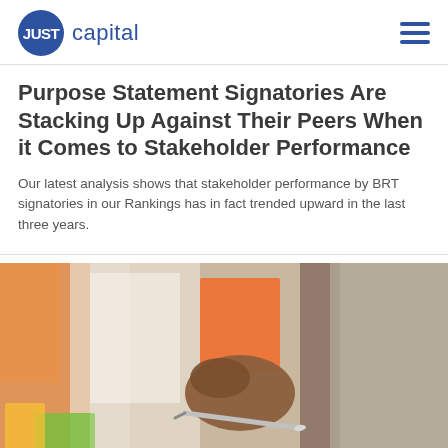JUST capital
Purpose Statement Signatories Are Stacking Up Against Their Peers When it Comes to Stakeholder Performance
Our latest analysis shows that stakeholder performance by BRT signatories in our Rankings has in fact trended upward in the last three years.
[Figure (photo): A person's hand holding a pen writing on an orange sticky note on a glass surface, with blurred colorful sticky notes in the background]